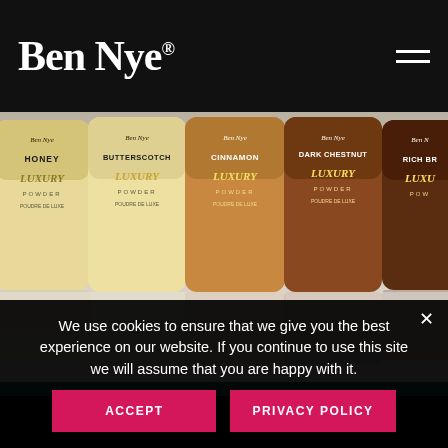Ben Nye®
[Figure (photo): Five Ben Nye Luxury Powder bottles in varying shades from light to dark: Honey, Butterscotch, Cinnamon, Dark Chestnut, Rich Brown, arranged in a row on a white reflective surface.]
We use cookies to ensure that we give you the best experience on our website. If you continue to use this site we will assume that you are happy with it.
ACCEPT
PRIVACY POLICY